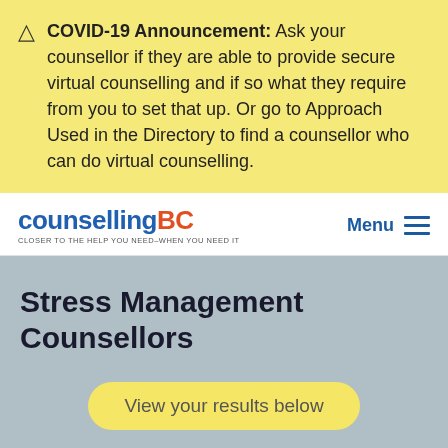COVID-19 Announcement: Ask your counsellor if they are able to provide secure virtual counselling and if so what they require from you to set that up. Or go to Approach Used in the Directory to find a counsellor who can do virtual counselling.
[Figure (logo): CounsellingBC logo with tagline: CLOSER TO THE HELP YOU NEED-WHEN YOU NEED IT]
Stress Management Counsellors
View your results below